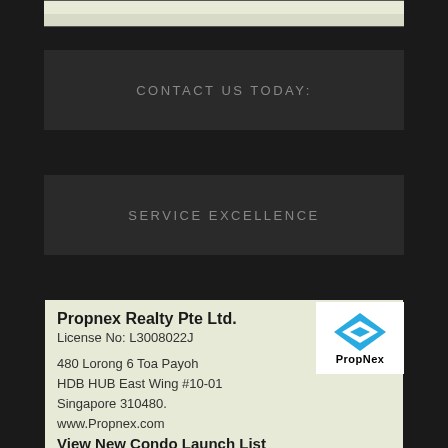CONTACT US TODAY:
SERVICE EXCELLENCE
Propnex Realty Pte Ltd.
License No: L3008022J

480 Lorong 6 Toa Payoh
HDB HUB East Wing #10-01
Singapore 310480.
www.Propnex.com
View New Condo Launch List